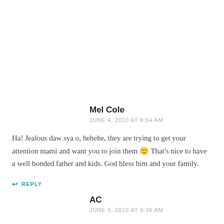Mel Cole
JUNE 4, 2010 AT 9:54 AM
Ha! Jealous daw sya o, hehehe, they are trying to get your attention mami and want you to join them 🙂 That's nice to have a well bonded father and kids. God bless him and your family.
↩ REPLY
AC
JUNE 6, 2010 AT 9:36 AM